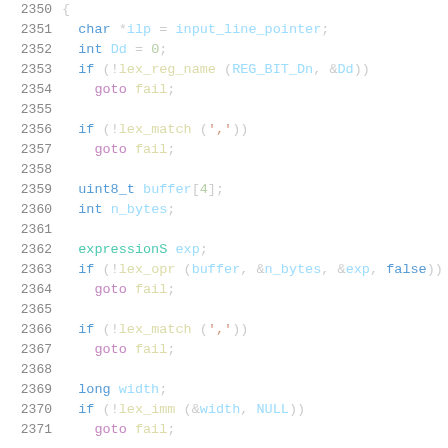Source code listing lines 2350-2371, C code for assembly parsing
2350    {
2351      char *ilp = input_line_pointer;
2352      int Dd = 0;
2353      if (!lex_reg_name (REG_BIT_Dn, &Dd))
2354        goto fail;
2355
2356      if (!lex_match (','))
2357        goto fail;
2358
2359      uint8_t buffer[4];
2360      int n_bytes;
2361
2362      expressionS exp;
2363      if (!lex_opr (buffer, &n_bytes, &exp, false))
2364        goto fail;
2365
2366      if (!lex_match (','))
2367        goto fail;
2368
2369      long width;
2370      if (!lex_imm (&width, NULL))
2371        goto fail;